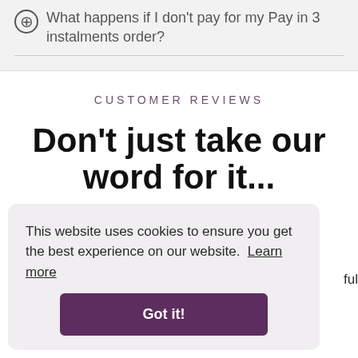⊕ What happens if I don't pay for my Pay in 3 instalments order?
CUSTOMER REVIEWS
Don't just take our word for it...
This website uses cookies to ensure you get the best experience on our website. Learn more
Got it!